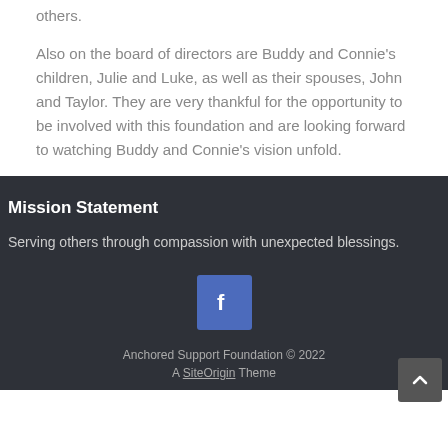others.
Also on the board of directors are Buddy and Connie's children, Julie and Luke, as well as their spouses, John and Taylor. They are very thankful for the opportunity to be involved with this foundation and are looking forward to watching Buddy and Connie's vision unfold.
Mission Statement
Serving others through compassion with unexpected blessings.
[Figure (logo): Facebook icon button - blue square with white 'f' letter]
Anchored Support Foundation © 2022
A SiteOrigin Theme